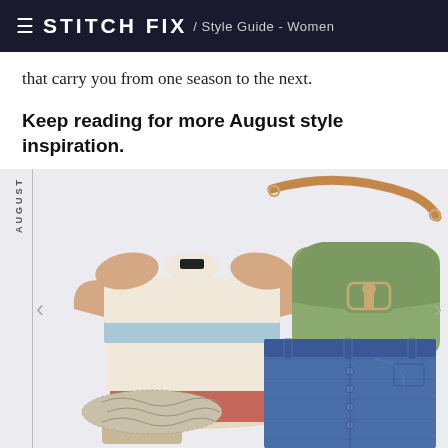≡ STITCH FIX / Style Guide - Women
that carry you from one season to the next.
Keep reading for more August style inspiration.
[Figure (photo): Flatlay photo showing a striped cream, blue, and red sweater, a green suede crossbody bag with tan leather strap and gold buckle, snake-print slip-on shoes, and a blue denim button-front skirt. 'AUGUST' is printed vertically on the left side.]